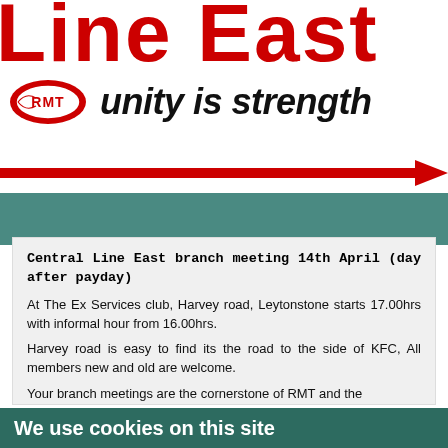Line East
[Figure (logo): RMT union logo oval badge with RMT text, followed by italic bold text 'unity is strength']
[Figure (illustration): Red horizontal arrow pointing right, spanning full page width]
Central Line East branch meeting 14th April (day after payday)
At The Ex Services club, Harvey road, Leytonstone starts 17.00hrs with informal hour from 16.00hrs.
Harvey road is easy to find its the road to the side of KFC, All members new and old are welcome.
Your branch meetings are the cornerstone of RMT and the
We use cookies on this site